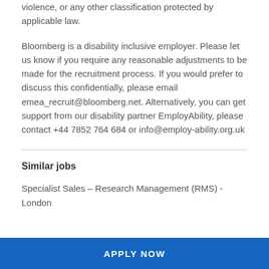violence, or any other classification protected by applicable law.
Bloomberg is a disability inclusive employer. Please let us know if you require any reasonable adjustments to be made for the recruitment process. If you would prefer to discuss this confidentially, please email emea_recruit@bloomberg.net. Alternatively, you can get support from our disability partner EmployAbility, please contact +44 7852 764 684 or info@employ-ability.org.uk
Similar jobs
Specialist Sales – Research Management (RMS) - London
APPLY NOW